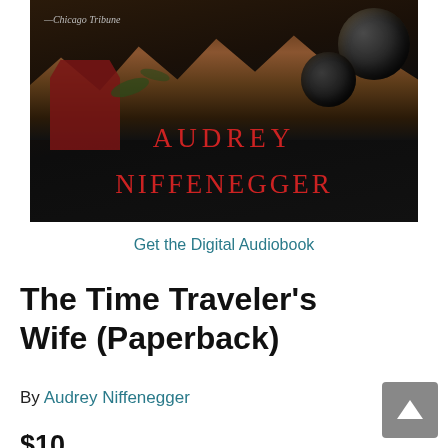[Figure (photo): Book cover of The Time Traveler's Wife by Audrey Niffenegger. Dark background with foliage, red decorative elements, two dark orbs in upper right, and author name 'AUDREY NIFFENEGGER' in large red serif letters. Quote attributed to Chicago Tribune at upper left.]
Get the Digital Audiobook
The Time Traveler's Wife (Paperback)
By Audrey Niffenegger
$10.00